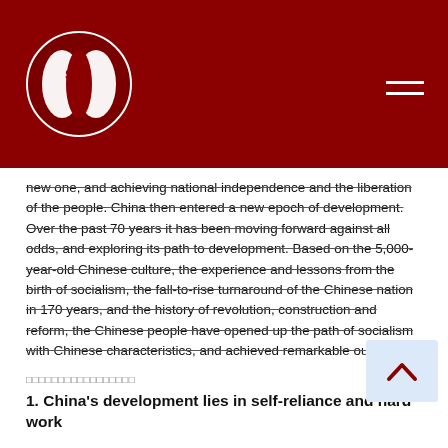SITI logo and navigation header
new one, and achieving national independence and the liberation of the people. China then entered a new epoch of development. Over the past 70 years it has been moving forward against all odds, and exploring its path to development. Based on the 5,000-year-old Chinese culture, the experience and lessons from the birth of socialism, the fall-to-rise turnaround of the Chinese nation in 170 years, and the history of revolution, construction and reform, the Chinese people have opened up the path of socialism with Chinese characteristics, and achieved remarkable outcomes.
[Chinese characters]
1. China's development lies in self-reliance and hard work
[Chinese characters — body paragraph]
In the early days of the PRC, following a century of war...